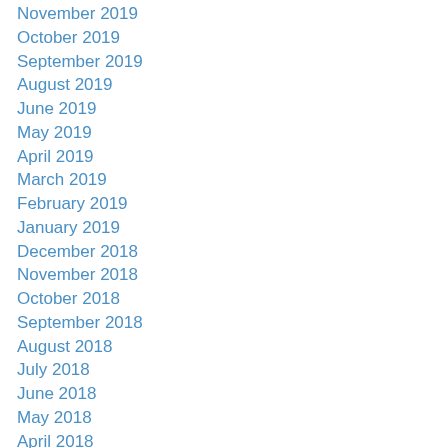November 2019
October 2019
September 2019
August 2019
June 2019
May 2019
April 2019
March 2019
February 2019
January 2019
December 2018
November 2018
October 2018
September 2018
August 2018
July 2018
June 2018
May 2018
April 2018
March 2018